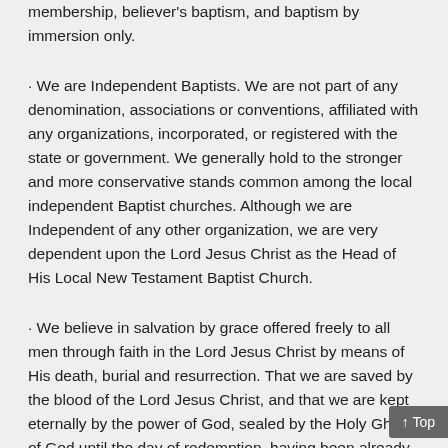membership, believer's baptism, and baptism by immersion only.
· We are Independent Baptists. We are not part of any denomination, associations or conventions, affiliated with any organizations, incorporated, or registered with the state or government. We generally hold to the stronger and more conservative stands common among the local independent Baptist churches. Although we are Independent of any other organization, we are very dependent upon the Lord Jesus Christ as the Head of His Local New Testament Baptist Church.
· We believe in salvation by grace offered freely to all men through faith in the Lord Jesus Christ by means of His death, burial and resurrection. That we are saved by the blood of the Lord Jesus Christ, and that we are kept eternally by the power of God, sealed by the Holy Ghost of God until the day of redemption, having been already given the earnest of His Spirit.
· We believe that a sinner, after being first convicted of their own personal sin – by nature & by choice, being drawn by the Holy Ghost unto the Lord Jesus Christ, must be willing to repent and obey the